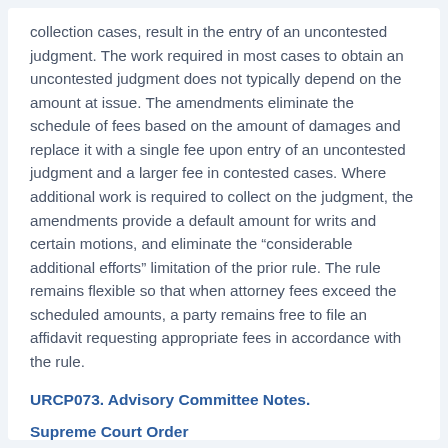collection cases, result in the entry of an uncontested judgment. The work required in most cases to obtain an uncontested judgment does not typically depend on the amount at issue. The amendments eliminate the schedule of fees based on the amount of damages and replace it with a single fee upon entry of an uncontested judgment and a larger fee in contested cases. Where additional work is required to collect on the judgment, the amendments provide a default amount for writs and certain motions, and eliminate the “considerable additional efforts” limitation of the prior rule. The rule remains flexible so that when attorney fees exceed the scheduled amounts, a party remains free to file an affidavit requesting appropriate fees in accordance with the rule.
URCP073. Advisory Committee Notes.
Supreme Court Order